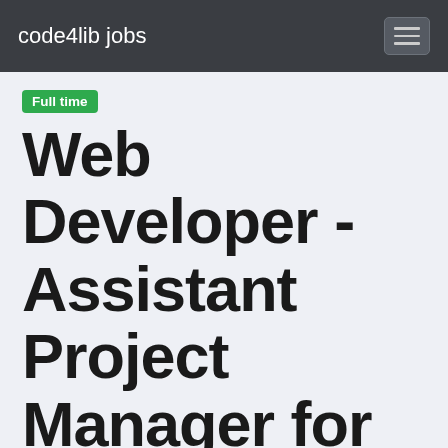code4lib jobs
Full time
Web Developer - Assistant Project Manager for Digital Library
National Institute for Newman Studies — Pittsburgh